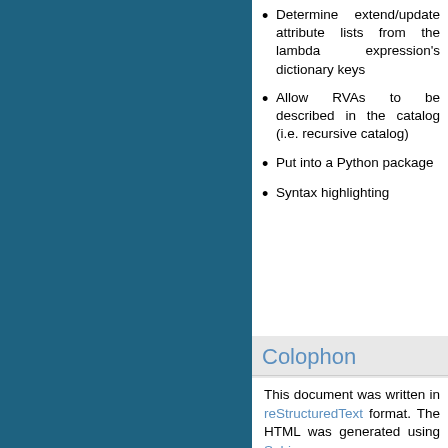Determine extend/update attribute lists from the lambda expression's dictionary keys
Allow RVAs to be described in the catalog (i.e. recursive catalog)
Put into a Python package
Syntax highlighting
Colophon
This document was written in reStructuredText format. The HTML was generated using Sphinx